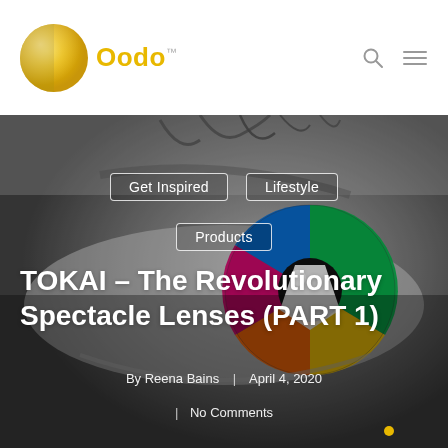[Figure (logo): Oodo brand logo with golden circle and text]
Oodo™
[Figure (photo): Close-up grayscale photo of a human eye with colorful iris reflection showing rainbow-colored spectacle lens]
Get Inspired
Lifestyle
Products
TOKAI – The Revolutionary Spectacle Lenses (PART 1)
By Reena Bains | April 4, 2020
| No Comments